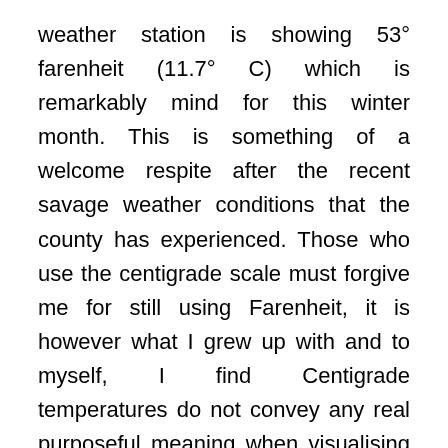weather station is showing 53° farenheit (11.7° C) which is remarkably mind for this winter month. This is something of a welcome respite after the recent savage weather conditions that the county has experienced. Those who use the centigrade scale must forgive me for still using Farenheit, it is however what I grew up with and to myself, I find Centigrade temperatures do not convey any real purposeful meaning when visualising external weather conditions. I am certain there are many more old-codgers like me who do the same.
Little is going on in the garden at the moment but I must soon start annual hedge trimming before new greenery starts to appear and birds start building nests in the hedges.
South Somerset where I live is mainly comprised of small